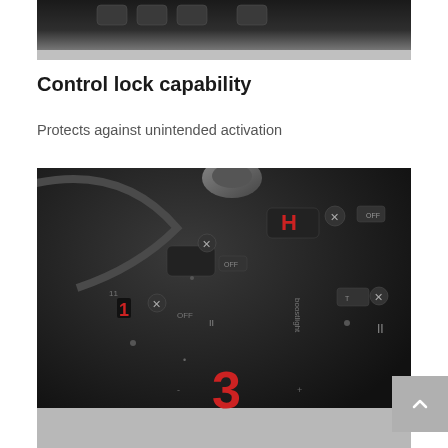[Figure (photo): Top portion of an induction cooktop control panel, partially cropped, showing dark glass surface with control buttons, with a silver/metallic edge visible.]
Control lock capability
Protects against unintended activation
[Figure (photo): Close-up photo of a black glass induction cooktop control panel showing touch buttons with red LED displays showing numbers (H, 1, 3), plus and minus controls, and various function buttons with white icon labels on a dark background.]